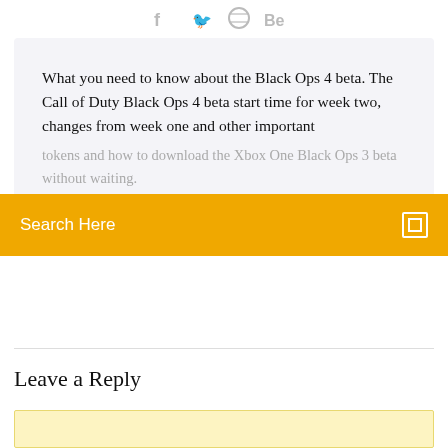[Figure (other): Social media icons: Facebook (f), Twitter bird, dribbble, Behance (Be) in gray]
What you need to know about the Black Ops 4 beta. The Call of Duty Black Ops 4 beta start time for week two, changes from week one and other important details have been announced. Black Ops 4 also...
tokens and how to download the Xbox One Black Ops 3 beta without waiting.
Search Here
Leave a Reply